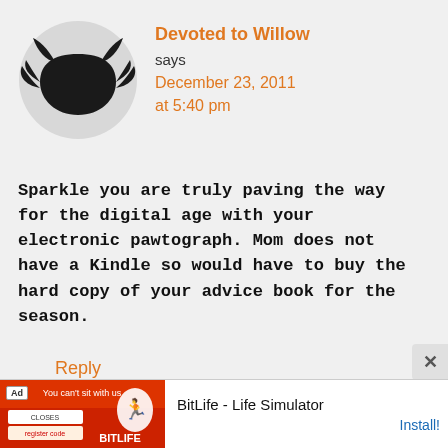[Figure (illustration): Gray circle avatar with black devil/cat silhouette icon]
Devoted to Willow says December 23, 2011 at 5:40 pm
Sparkle you are truly paving the way for the digital age with your electronic pawtograph. Mom does not have a Kindle so would have to buy the hard copy of your advice book for the season.
Reply
Ad BitLife - Life Simulator Install!